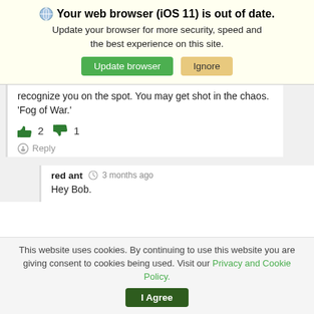🌐 Your web browser (iOS 11) is out of date. Update your browser for more security, speed and the best experience on this site. [Update browser] [Ignore]
recognize you on the spot. You may get shot in the chaos. 'Fog of War.'
👍 2  👎 1
Reply
red ant  🕐 3 months ago
Hey Bob.
This website uses cookies. By continuing to use this website you are giving consent to cookies being used. Visit our Privacy and Cookie Policy. [I Agree]